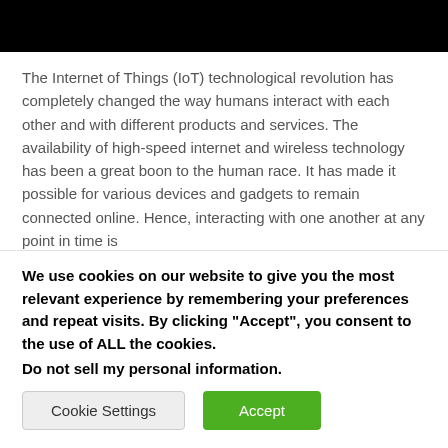[Figure (other): Black header bar at top of page]
The Internet of Things (IoT) technological revolution has completely changed the way humans interact with each other and with different products and services. The availability of high-speed internet and wireless technology has been a great boon to the human race. It has made it possible for various devices and gadgets to remain connected online. Hence, interacting with one another at any point in time is
We use cookies on our website to give you the most relevant experience by remembering your preferences and repeat visits. By clicking "Accept", you consent to the use of ALL the cookies.
Do not sell my personal information.